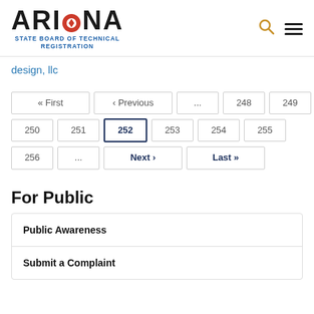ARIZONA STATE BOARD OF TECHNICAL REGISTRATION
design, llc
« First ‹ Previous ... 248 249 250 251 252 253 254 255 256 ... Next › Last »
For Public
Public Awareness
Submit a Complaint